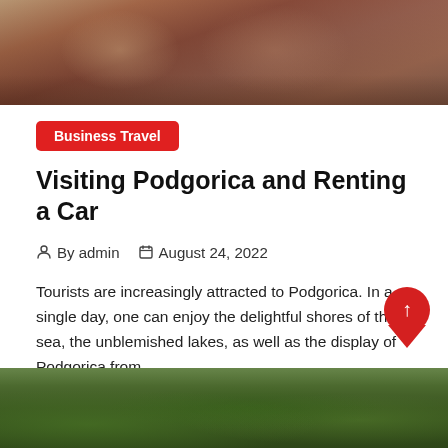[Figure (photo): Top portion of a photo showing people in a car, with warm brown and reddish tones, likely from a travel blog header image.]
Business Travel
Visiting Podgorica and Renting a Car
By admin   August 24, 2022
Tourists are increasingly attracted to Podgorica. In a single day, one can enjoy the delightful shores of the sea, the unblemished lakes, as well as the display of Podgorica from…
Explore more
[Figure (photo): Bottom portion of a landscape photo showing green forested hills or mountains, partially visible at the bottom of the page.]